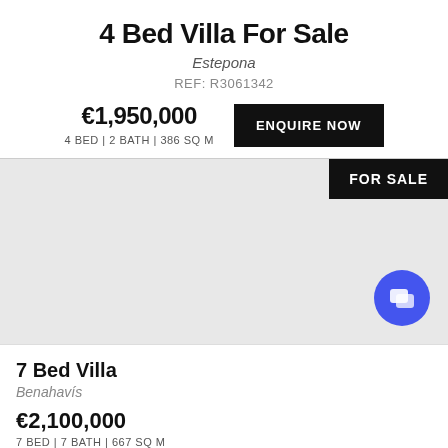4 Bed Villa For Sale
Estepona
REF: R3061342
€1,950,000
4 BED | 2 BATH | 386 SQ M
ENQUIRE NOW
[Figure (photo): Property listing image area with FOR SALE badge in top right corner, light grey background placeholder image]
7 Bed Villa
Benahavis
€2,100,000
7 BED | 7 BATH | 667 SQ M